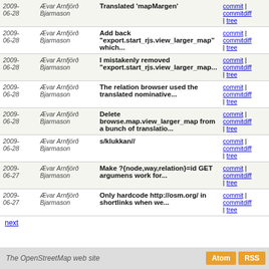| Date | Author | Message | Links |
| --- | --- | --- | --- |
| 2009-06-28 | Ævar Arnfjörð Bjarmason | Translated 'mapMargen' | commit | commitdiff | tree |
| 2009-06-28 | Ævar Arnfjörð Bjarmason | Add back "export.start_rjs.view_larger_map" which... | commit | commitdiff | tree |
| 2009-06-28 | Ævar Arnfjörð Bjarmason | I mistakenly removed "export.start_rjs.view_larger_map... | commit | commitdiff | tree |
| 2009-06-28 | Ævar Arnfjörð Bjarmason | The relation browser used the translated nominative... | commit | commitdiff | tree |
| 2009-06-28 | Ævar Arnfjörð Bjarmason | Delete browse.map.view_larger_map from a bunch of translatio... | commit | commitdiff | tree |
| 2009-06-28 | Ævar Arnfjörð Bjarmason | s/klukkan// | commit | commitdiff | tree |
| 2009-06-27 | Ævar Arnfjörð Bjarmason | Make ?{node,way,relation}=id GET argumens work for... | commit | commitdiff | tree |
| 2009-06-27 | Ævar Arnfjörð Bjarmason | Only hardcode http://osm.org/ in shortlinks when we... | commit | commitdiff | tree |
next
The OpenStreetMap web site